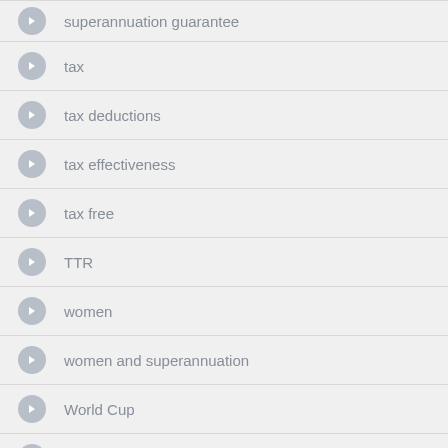superannuation guarantee
tax
tax deductions
tax effectiveness
tax free
TTR
women
women and superannuation
World Cup
young
Archive
September 2018